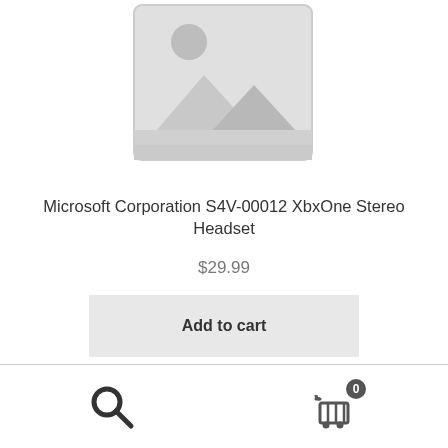[Figure (illustration): Placeholder product image with mountain/landscape icon in light gray]
Microsoft Corporation S4V-00012 XbxOne Stereo Headset
$29.99
Add to cart
[Figure (other): Bottom navigation bar with search icon (magnifying glass) on the left and shopping cart icon with badge showing 0 on the right]